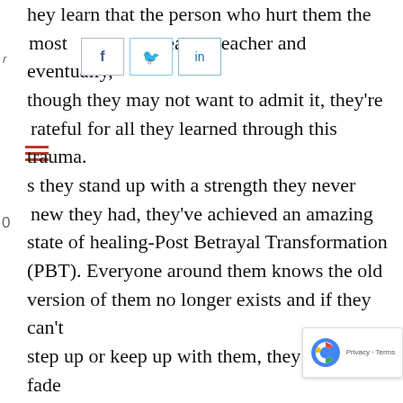hey learn that the person who hurt them the most was their greatest teacher and eventually, though they may not want to admit it, they're grateful for all they learned through this trauma. As they stand up with a strength they never knew they had, they've achieved an amazing state of healing-Post Betrayal Transformation (PBT). Everyone around them knows the old version of them no longer exists and if they can't step up or keep up with them, they simply fade away. This amazing rebuilt soul has an entirely new way to look at life. They're wary to trust yet go for it anyway. They're scared of a new opportunity but realize nothing could be ne… …what they've already been through. The…
[Figure (other): Social share buttons: Facebook (f), Twitter bird, LinkedIn (in)]